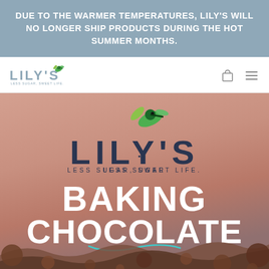DUE TO THE WARMER TEMPERATURES, LILY'S WILL NO LONGER SHIP PRODUCTS DURING THE HOT SUMMER MONTHS.
[Figure (logo): Lily's brand logo with hummingbird in navigation bar]
[Figure (screenshot): Lily's website hero section with brand logo, hummingbird, tagline 'LESS SUGAR, SWEET LIFE.' and large text 'BAKING CHOCOLATE' over a pink/rose gradient background with chocolate elements at the bottom]